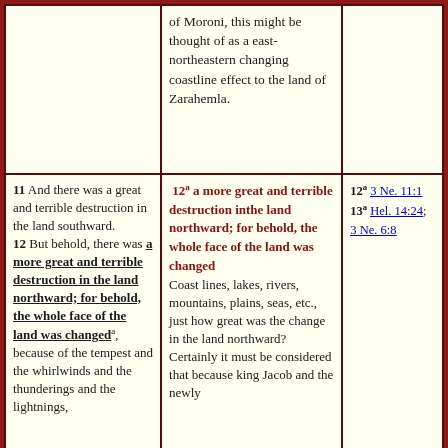of Moroni, this might be thought of as a east-northeastern changing coastline effect to the land of Zarahemla.
11 And there was a great and terrible destruction in the land southward. 12 But behold, there was a more great and terrible destruction in the land northward; for behold, the whole face of the land was changed[a], because of the tempest and the whirlwinds and the thunderings and the lightnings,
12a a more great and terrible destruction inthe land northward; for behold, the whole face of the land was changed Coast lines, lakes, rivers, mountains, plains, seas, etc., just how great was the change in the land northward? Certainly it must be considered that because king Jacob and the newly
12a 3 Ne. 11:1 13a Hel. 14:24; 3 Ne. 6:8